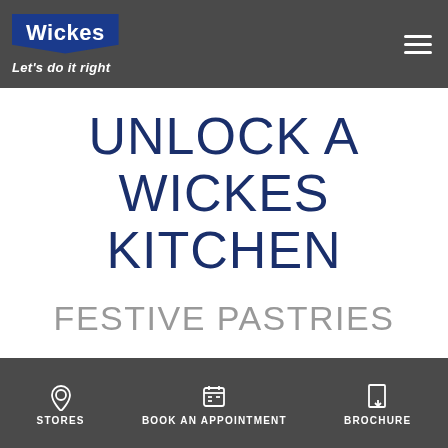[Figure (logo): Wickes logo with blue shield/badge shape containing 'Wickes' in white, and tagline 'Let's do it right' below in white italic]
UNLOCK A WICKES KITCHEN
FESTIVE PASTRIES
STORES | BOOK AN APPOINTMENT | BROCHURE